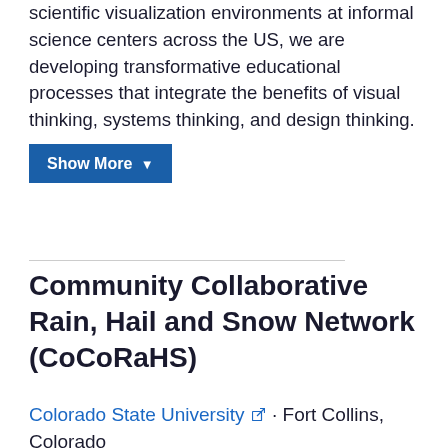scientific visualization environments at informal science centers across the US, we are developing transformative educational processes that integrate the benefits of visual thinking, systems thinking, and design thinking.
Show More ▼
Community Collaborative Rain, Hail and Snow Network (CoCoRaHS)
Colorado State University · Fort Collins, Colorado